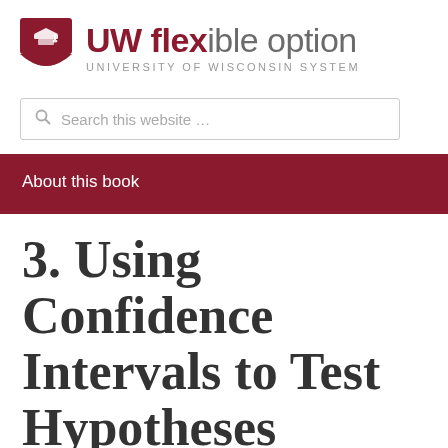[Figure (logo): UW Flexible Option, University of Wisconsin System logo with shield icon]
Search this website ...
About this book
3. Using Confidence Intervals to Test Hypotheses